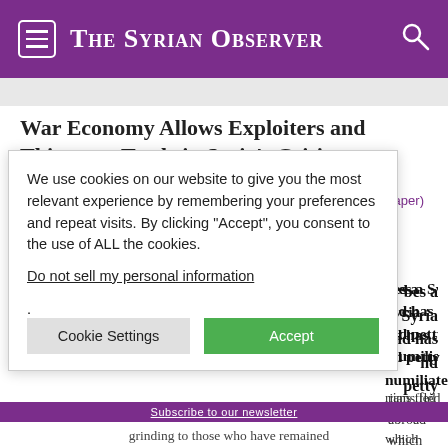The Syrian Observer
War Economy Allows Exploiters and Thieves to Trade in Syria's Crisis
Monday January 23rd, 2017 by Sada al-Sham (opposition newspaper)
[Figure (other): Social sharing icons: Facebook, Twitter, Email, Print, Zoom out, Zoom in]
We use cookies on our website to give you the most relevant experience by remembering your preferences and repeat visits. By clicking “Accept”, you consent to the use of ALL the cookies.
Do not sell my personal information.
[Cookie Settings] [Accept]
...bes a Syria nd has nd petty humiliated
...rians fled abroad which could keep n dignity, the he country are grinding to those who have remained